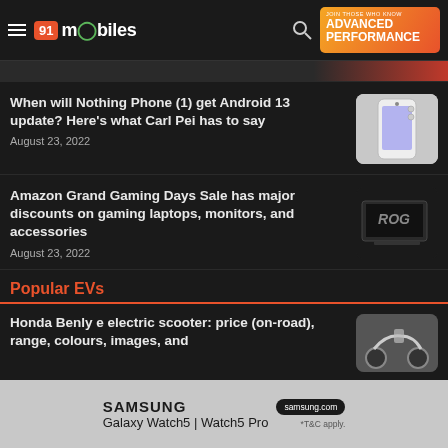91mobiles
[Figure (screenshot): Partial image strip at top of page]
When will Nothing Phone (1) get Android 13 update? Here's what Carl Pei has to say
August 23, 2022
[Figure (photo): Nothing Phone (1) in white/transparent design]
Amazon Grand Gaming Days Sale has major discounts on gaming laptops, monitors, and accessories
August 23, 2022
[Figure (photo): ROG gaming laptop on dark background]
Popular EVs
Honda Benly e electric scooter: price (on-road), range, colours, images, and
[Figure (photo): Honda electric scooter side view]
[Figure (screenshot): Samsung Galaxy Watch5 | Watch5 Pro advertisement banner]